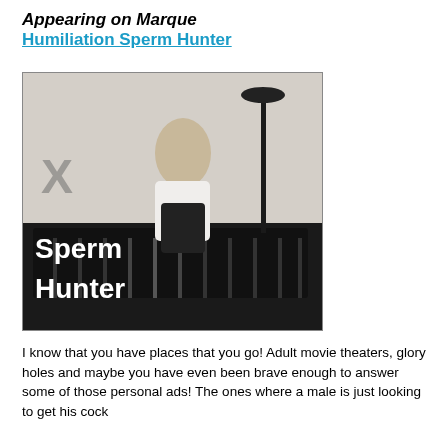Appearing on Marque
Humiliation Sperm Hunter
[Figure (photo): A woman in a white blouse and black skirt sitting on a dark surface with text overlay reading 'Sperm Hunter']
I know that you have places that you go! Adult movie theaters, glory holes and maybe you have even been brave enough to answer some of those personal ads! The ones where a male is just looking to get his cock